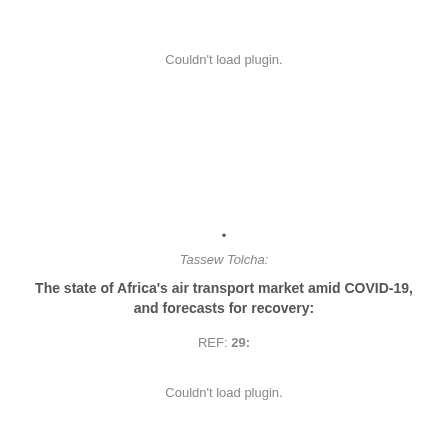Couldn't load plugin.
•
Tassew Tolcha:
The state of Africa's air transport market amid COVID-19, and forecasts for recovery:
REF: 29:
Couldn't load plugin.